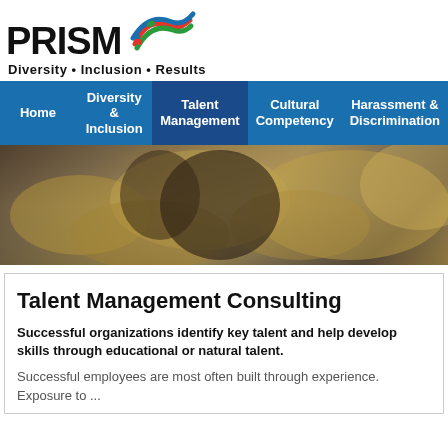[Figure (logo): PRISM logo with colorful swoosh/ribbon graphic and text 'PRISM' in bold black with tagline 'Diversity • Inclusion • Results']
[Figure (infographic): Navigation bar with blue background containing menu items: Home, Diversity & Inclusion, Talent Management (active/darker), Cultural Competency, Harassment & Discrimination]
[Figure (photo): Hero banner image showing blurred close-up of brass musical instruments (trumpets/horns) being played]
Talent Management Consulting
Successful organizations identify key talent and help develop skills through educational or natural talent.
Successful employees are most often built through experience. Exposure to ...